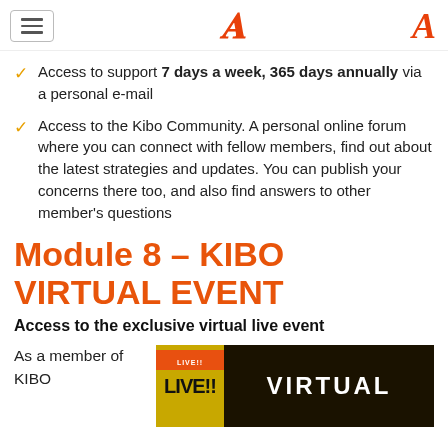Navigation menu and logo
Access to support 7 days a week, 365 days annually via a personal e-mail
Access to the Kibo Community. A personal online forum where you can connect with fellow members, find out about the latest strategies and updates. You can publish your concerns there too, and also find answers to other member's questions
Module 8 – KIBO VIRTUAL EVENT
Access to the exclusive virtual live event
As a member of KIBO
[Figure (photo): Event promotional image showing LIVE!! VIRTUAL text on dark and yellow background]